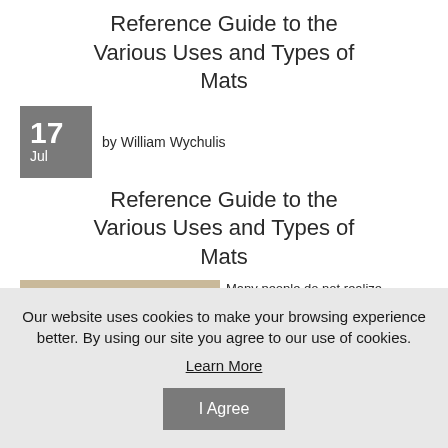Reference Guide to the Various Uses and Types of Mats
17 Jul by William Wychulis
Reference Guide to the Various Uses and Types of Mats
Many people do not realize
Our website uses cookies to make your browsing experience better. By using our site you agree to our use of cookies.
Learn More
I Agree